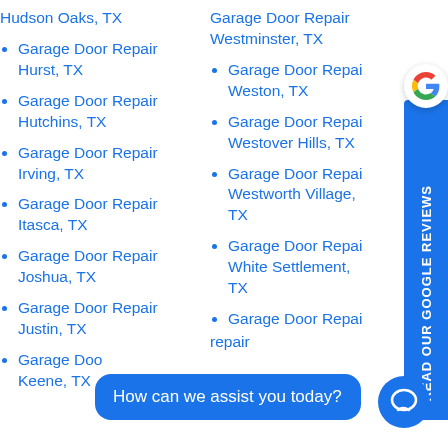Hudson Oaks, TX
Garage Door Repair Hurst, TX
Garage Door Repair Hutchins, TX
Garage Door Repair Irving, TX
Garage Door Repair Itasca, TX
Garage Door Repair Joshua, TX
Garage Door Repair Justin, TX
Garage Door Keene, TX
Garage Door Repair Westminster, TX
Garage Door Repair Weston, TX
Garage Door Repair Westover Hills, TX
Garage Door Repair Westworth Village, TX
Garage Door Repair White Settlement, TX
Garage Door Repair
How can we assist you today?